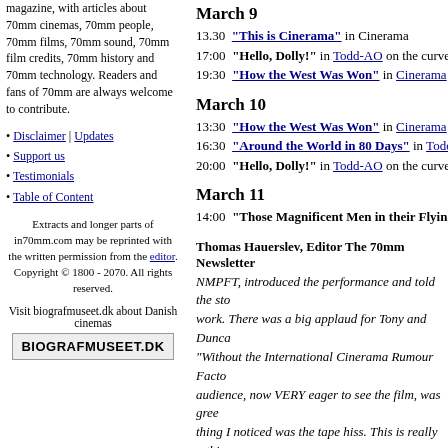magazine, with articles about 70mm cinemas, 70mm people, 70mm films, 70mm sound, 70mm film credits, 70mm history and 70mm technology. Readers and fans of 70mm are always welcome to contribute.
• Disclaimer | Updates
• Support us
• Testimonials
• Table of Content
Extracts and longer parts of in70mm.com may be reprinted with the written permission from the editor. Copyright © 1800 - 2070. All rights reserved.
Visit biografmuseet.dk about Danish cinemas
[Figure (other): BIOGRAFMUSEET.DK logo box]
March 9
13.30 "This is Cinerama" in Cinerama
17:00 "Hello, Dolly!" in Todd-AO on the curve
19:30 "How the West Was Won" in Cinerama
March 10
13:30 "How the West Was Won" in Cinerama
16:30 "Around the World in 80 Days" in Todd-AO
20:00 "Hello, Dolly!" in Todd-AO on the curve
March 11
14:00 "Those Magnificent Men in their Flying M..."
Thomas Hauerslev, Editor The 70mm Newsletter
NMPFT, introduced the performance and told the story of his work. There was a big applaud for Tony and Duncan. "Without the International Cinerama Rumour Factor..." audience, now VERY eager to see the film, was greeted... thing I noticed was the tape hiss. This is really a thing... SOUND. And then, 7 tracks of stereophonic music b... Promised Land" and many more by Mr Alfred Newm... was real STEREO. Modern 6-track mixes are 6-trac... different sensation. A very nice sense of being presen...
• Read full text: Pictureville Cinema, Widescreen W...
• Gallery: Bradford, Widescreeen Weekend 1996